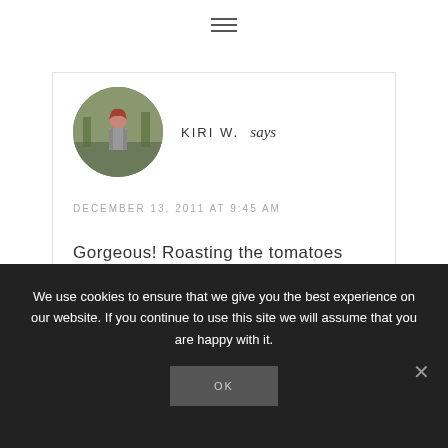[Figure (illustration): Hamburger menu icon (three horizontal lines) centered at top of page]
[Figure (photo): Circular avatar photo of person (Kiri W.) outdoors with trees in background]
KIRI W. says
DECEMBER 13, 2011 AT 9:45 AM
Gorgeous! Roasting the tomatoes brings out such a wonderful, sweet flavor, and look at that gooey cheese between crispy brad slices!
We use cookies to ensure that we give you the best experience on our website. If you continue to use this site we will assume that you are happy with it.
OK